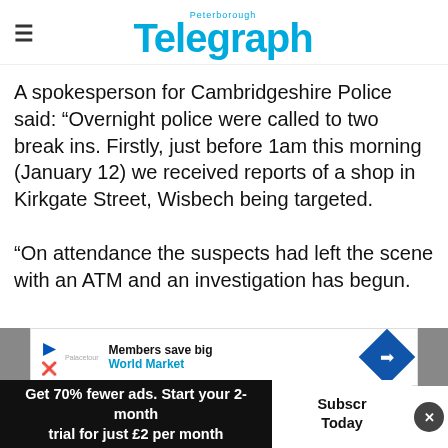Peterborough Telegraph
A spokesperson for Cambridgeshire Police said: “Overnight police were called to two break ins. Firstly, just before 1am this morning (January 12) we received reports of a shop in Kirkgate Street, Wisbech being targeted.

“On attendance the suspects had left the scene with an ATM and an investigation has begun.
[Figure (infographic): Advertisement banner: Members save big - World Market, with a diamond-shaped logo icon]
“If an
contact us via web chat or on 101 qu...
Get 70% fewer ads. Start your 2-month trial for just £2 per month
Subscribe Today